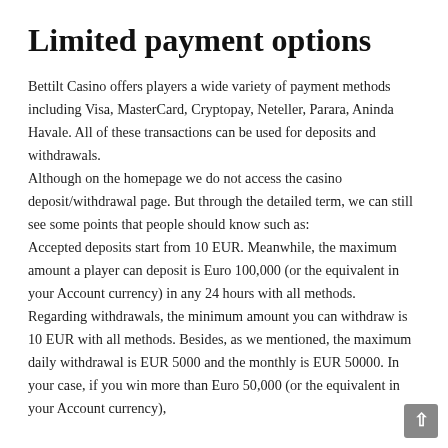Limited payment options
Bettilt Casino offers players a wide variety of payment methods including Visa, MasterCard, Cryptopay, Neteller, Parara, Aninda Havale. All of these transactions can be used for deposits and withdrawals.
Although on the homepage we do not access the casino deposit/withdrawal page. But through the detailed term, we can still see some points that people should know such as:
Accepted deposits start from 10 EUR. Meanwhile, the maximum amount a player can deposit is Euro 100,000 (or the equivalent in your Account currency) in any 24 hours with all methods.
Regarding withdrawals, the minimum amount you can withdraw is 10 EUR with all methods. Besides, as we mentioned, the maximum daily withdrawal is EUR 5000 and the monthly is EUR 50000. In your case, if you win more than Euro 50,000 (or the equivalent in your Account currency),